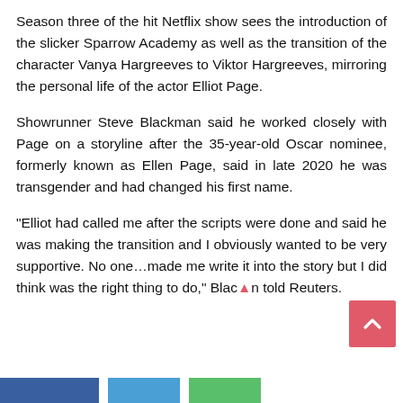Season three of the hit Netflix show sees the introduction of the slicker Sparrow Academy as well as the transition of the character Vanya Hargreeves to Viktor Hargreeves, mirroring the personal life of the actor Elliot Page.
Showrunner Steve Blackman said he worked closely with Page on a storyline after the 35-year-old Oscar nominee, formerly known as Ellen Page, said in late 2020 he was transgender and had changed his first name.
"Elliot had called me after the scripts were done and said he was making the transition and I obviously wanted to be very supportive. No one...made me write it into the story but I did think was the right thing to do," Blackman told Reuters.